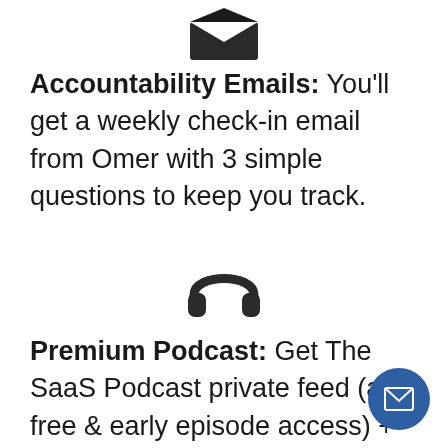[Figure (illustration): Email envelope icon, dark/black filled, open flap at top]
Accountability Emails: You'll get a weekly check-in email from Omer with 3 simple questions to keep you track.
[Figure (illustration): Headphones icon, dark/black filled]
Premium Podcast: Get The SaaS Podcast private feed (ad-free & early episode access) + time-stamped show notes.